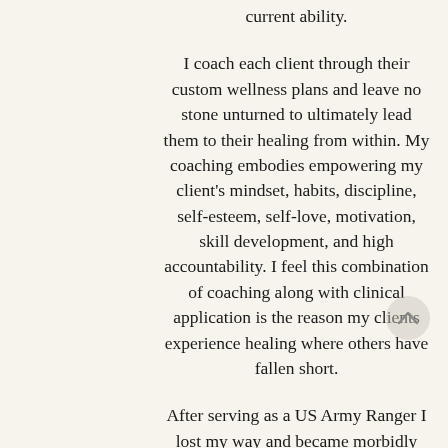current ability.
I coach each client through their custom wellness plans and leave no stone unturned to ultimately lead them to their healing from within. My coaching embodies empowering my client's mindset, habits, discipline, self-esteem, self-love, motivation, skill development, and high accountability. I feel this combination of coaching along with clinical application is the reason my clients experience healing where others have fallen short.
After serving as a US Army Ranger I lost my way and became morbidly obese at 300lbs.  It was embarrassing and I was depressed, toxic, pre-